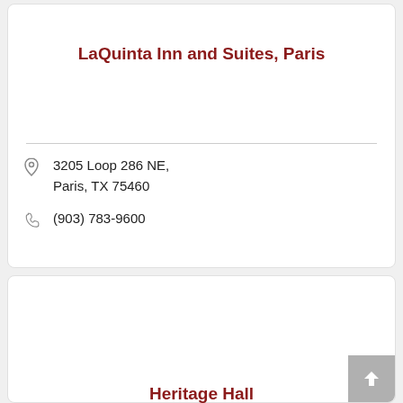LaQuinta Inn and Suites, Paris
3205 Loop 286 NE, Paris, TX 75460
(903) 783-9600
Heritage Hall